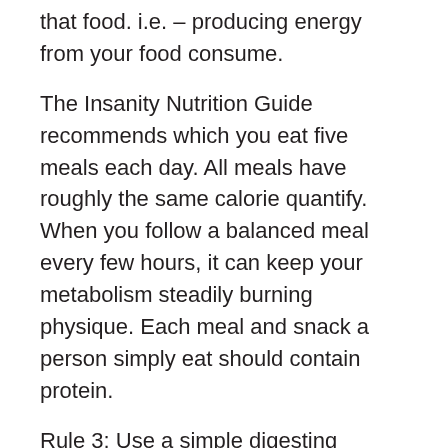that food. i.e. – producing energy from your food consume.
The Insanity Nutrition Guide recommends which you eat five meals each day. All meals have roughly the same calorie quantify. When you follow a balanced meal every few hours, it can keep your metabolism steadily burning physique. Each meal and snack a person simply eat should contain protein.
Rule 3: Use a simple digesting protein after your workout. This is. After you workout, you could have an “anabolic window” in which every nutrient you put into your body will absorb more efficiently and be directed into the damaged ligament. Immediately after you workout, drink a high-quality whey protein shake. Additionally you need carbohydrates after a workout to replenish glycogen and maximize your insulin development.
Protein supplements can produce a good way to get extra protein into strategy. The undeniable fact you can find a